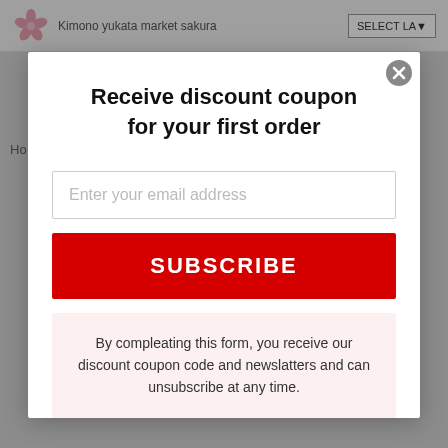Kimono yukata market sakura | SELECT LA▼
[Figure (screenshot): Background website page showing navigation header with cherry blossom logo and SELECT LANGUAGE dropdown, dimmed behind modal overlay]
Receive discount coupon for your first order
Enter your email address
SUBSCRIBE
By compleating this form, you receive our discount coupon code and newslatters and can unsubscribe at any time.